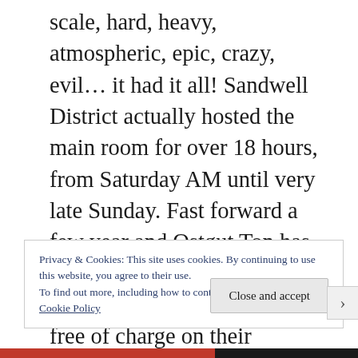scale, hard, heavy, atmospheric, epic, crazy, evil… it had it all! Sandwell District actually hosted the main room for over 18 hours, from Saturday AM until very late Sunday. Fast forward a few year and Ostgut Ton has revolutionised the mix CD by providing the mixed file free of charge on their website. This is a revolutionary step because the mix CD is holy sacrilege since Sasha and Digweed pioneered them in the 90's with the Renaissance series. Many would think this is a
Privacy & Cookies: This site uses cookies. By continuing to use this website, you agree to their use.
To find out more, including how to control cookies, see here:
Cookie Policy
Close and accept